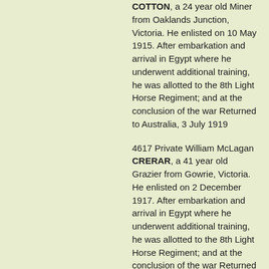COTTON, a 24 year old Miner from Oaklands Junction, Victoria. He enlisted on 10 May 1915. After embarkation and arrival in Egypt where he underwent additional training, he was allotted to the 8th Light Horse Regiment; and at the conclusion of the war Returned to Australia, 3 July 1919
4617 Private William McLagan CRERAR, a 41 year old Grazier from Gowrie, Victoria. He enlisted on 2 December 1917. After embarkation and arrival in Egypt where he underwent additional training, he was allotted to the 8th Light Horse Regiment; and at the conclusion of the war Returned to Australia, 3 July 1919
4477 Private Daniel CROWLEY, a 25 year old Labourer from Branxton, New South Wales. He enlisted on 16 January 1918. After embarkation and arrival in Egypt